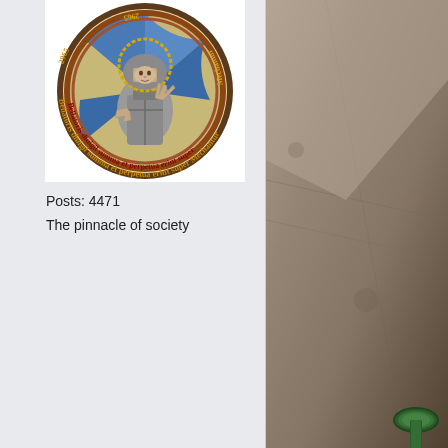[Figure (illustration): Circular stained-glass style badge/insignia showing a medieval armored figure (knight or warrior) in the center with a halo, giving a blessing gesture. Surrounding text in gothic script reads: 'Bellatoris diuigil summa et perpetua erint super Mechantur' with '2965' visible. The border of the circle has orange/gold gothic lettering. The artwork style resembles a religious icon or coat of arms.]
Posts: 4471
The pinnacle of society
[Figure (photo): Photograph of a hard surface (floor or table) in muted brown/grey tones. In the lower right corner, a green glass bottle cap or bottle top is partially visible.]